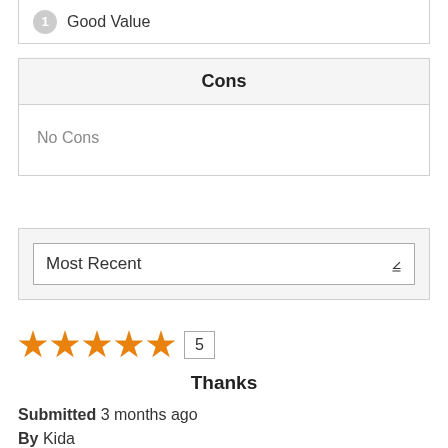Good Value
Cons
No Cons
Most Recent
[Figure (other): 5-star orange rating with number 5 in a box]
Thanks
Submitted 3 months ago
By Kida
From Dar es salaam
All in al are good